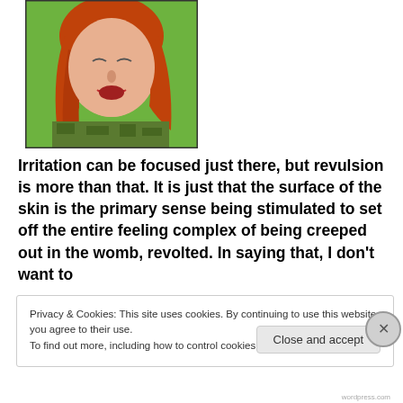[Figure (photo): Woman with red hair and closed eyes, wearing camouflage top, making an expression of disgust or reaction, set against a green background.]
Irritation can be focused just there, but revulsion is more than that. It is just that the surface of the skin is the primary sense being stimulated to set off the entire feeling complex of being creeped out in the womb, revolted. In saying that, I don't want to
Privacy & Cookies: This site uses cookies. By continuing to use this website, you agree to their use.
To find out more, including how to control cookies, see here: Cookie Policy
Close and accept